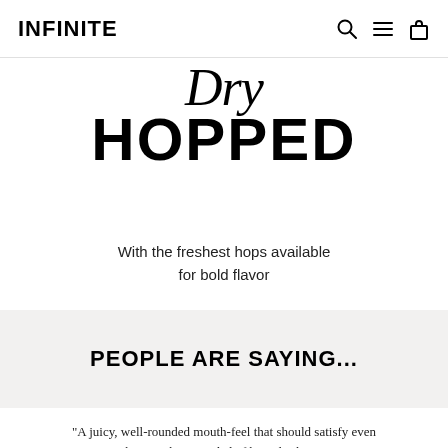INFINITE
Dry HOPPED
With the freshest hops available for bold flavor
PEOPLE ARE SAYING...
"A juicy, well-rounded mouth-feel that should satisfy even the most hop-minded of beer drinkers."